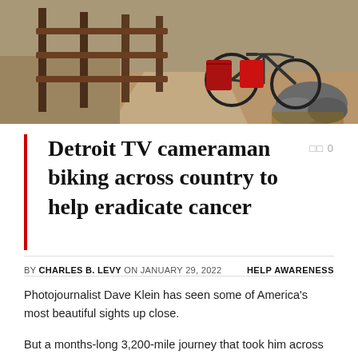[Figure (photo): A bicycle with red panniers/bags leaning against a wooden fence on a dirt trail, with rocks and dry brush visible in the background]
Detroit TV cameraman biking across country to help eradicate cancer
BY CHARLES B. LEVY ON JANUARY 29, 2022   HELP AWARENESS
Photojournalist Dave Klein has seen some of America's most beautiful sights up close.
But a months-long 3,200-mile journey that took him across the country was not for fun. Klein, who had to postpone his adventure for a year due to the pandemic, is on a mission.